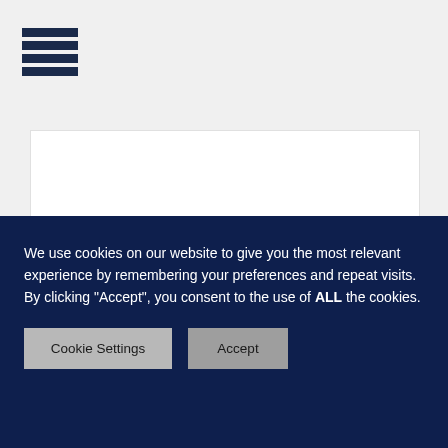[Figure (logo): Hamburger menu icon with three horizontal dark navy bars]
[Figure (photo): Partial product image - bottom portion of a gemstone or jewelry piece on white background]
GOLDEN FIRELITE
[Figure (photo): Partial product image - top portion showing an iridescent shell or abalone-like gemstone with blue-green metallic sheen on white background]
We use cookies on our website to give you the most relevant experience by remembering your preferences and repeat visits. By clicking "Accept", you consent to the use of ALL the cookies.
Cookie Settings
Accept